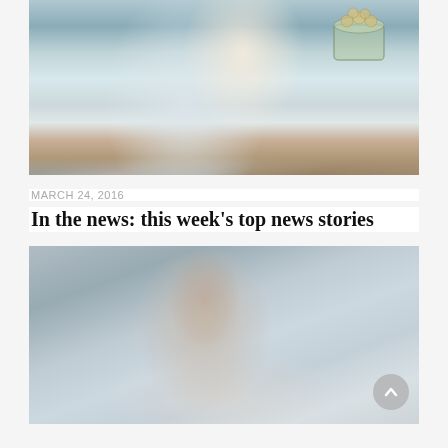[Figure (photo): Person in white lab coat holding a glass jar filled with coins, teal/blue background]
MARCH 24, 2016
In the news: this week's top news stories
[Figure (photo): Business man in suit looking upward, blurred foreground, light grey background with scroll-to-top button]